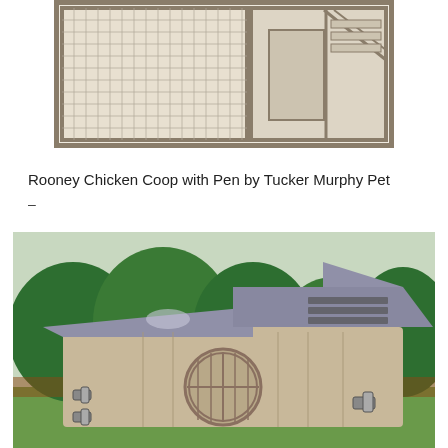[Figure (photo): Rooney Chicken Coop with Pen - a large wire mesh outdoor run with wooden frame, beige/tan colored panels and mesh sides, shown from above/side angle]
Rooney Chicken Coop with Pen by Tucker Murphy Pet
–
[Figure (photo): A plastic chicken coop with grey roof, beige/tan body, a circular barn-style door, ventilation slots near the top, and metal latches/hinges, set on green grass with trees in background]